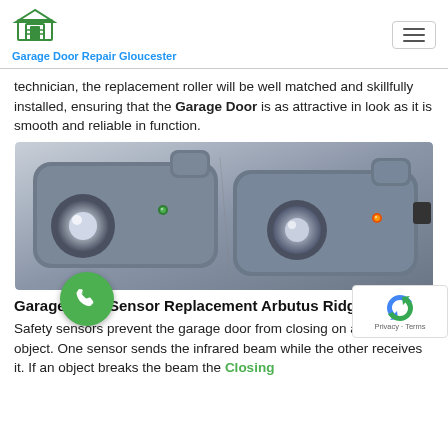Garage Door Repair Gloucester
technician, the replacement roller will be well matched and skillfully installed, ensuring that the Garage Door is as attractive in look as it is smooth and reliable in function.
[Figure (photo): Two garage door safety sensors side by side, dark grey plastic housing, one with green LED and one with amber LED, both with circular lens eyes]
Garage Door Sensor Replacement Arbutus Ridge
Safety sensors prevent the garage door from closing on a person or object. One sensor sends the infrared beam while the other receives it. If an object breaks the beam the Closing